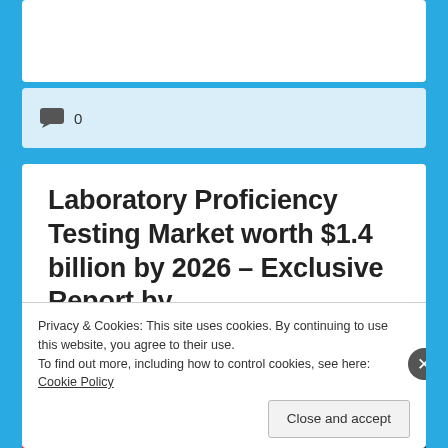0
Laboratory Proficiency Testing Market worth $1.4 billion by 2026 – Exclusive Report by MarketsandMarkets™
Attractive Opportunities in the Laboratory Proficiency Testing Market
Privacy & Cookies: This site uses cookies. By continuing to use this website, you agree to their use.
To find out more, including how to control cookies, see here: Cookie Policy